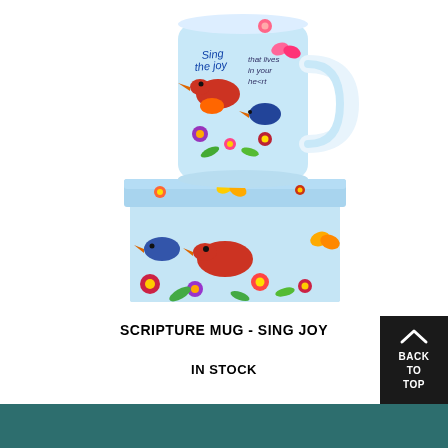[Figure (photo): A colorful scripture mug decorated with birds, flowers, and butterflies with text 'Sing the joy that lives in your heart', sitting on top of a matching gift box with the same colorful floral design on a light blue background.]
SCRIPTURE MUG - SING JOY
IN STOCK
[Figure (other): Back to Top button - dark square button with upward chevron arrow and text BACK TO TOP]